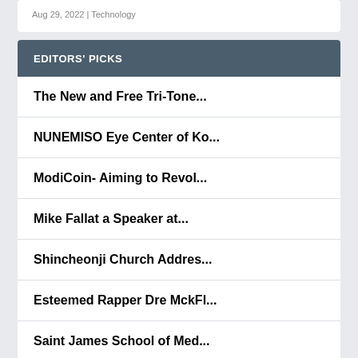Aug 29, 2022 | Technology
EDITORS' PICKS
The New and Free Tri-Tone...
NUNEMISO Eye Center of Ko...
ModiCoin- Aiming to Revol...
Mike Fallat a Speaker at...
Shincheonji Church Addres...
Esteemed Rapper Dre MckFl...
Saint James School of Med...